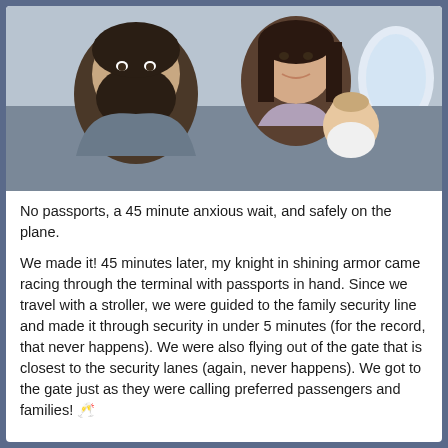[Figure (photo): A bearded man and a smiling woman with dark hair holding a baby on an airplane, with a window visible in the background.]
No passports, a 45 minute anxious wait, and safely on the plane.
We made it! 45 minutes later, my knight in shining armor came racing through the terminal with passports in hand. Since we travel with a stroller, we were guided to the family security line and made it through security in under 5 minutes (for the record, that never happens). We were also flying out of the gate that is closest to the security lanes (again, never happens). We got to the gate just as they were calling preferred passengers and families! 🥂